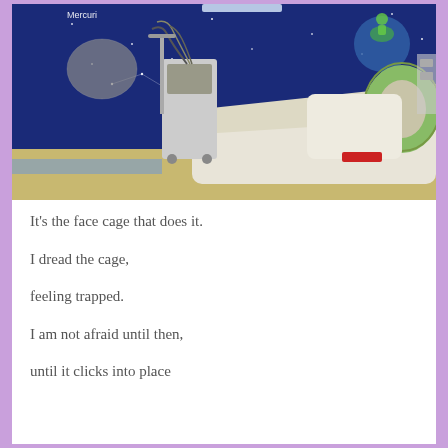[Figure (photo): A pediatric MRI room with space-themed mural on the walls (showing Mercury planet and stars on blue background). An MRI scanner with a green donut-shaped gantry and white patient table is visible. Medical equipment cart with tubes and wires is on the left.]
It's the face cage that does it.
I dread the cage,
feeling trapped.
I am not afraid until then,
until it clicks into place